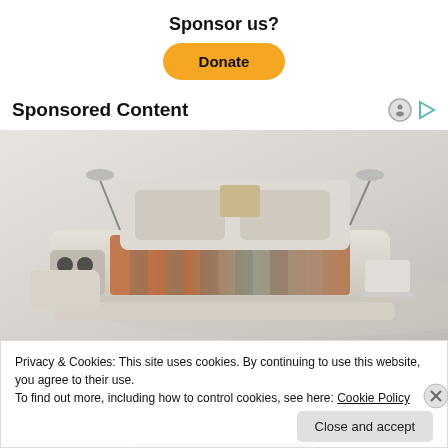Sponsor us?
[Figure (other): Donate button — yellow/orange rounded rectangle with bold text 'Donate']
Sponsored Content
[Figure (photo): A luxury multi-functional bed with cream leather upholstery, speakers, reading lights, side tables, and a striped mattress, on a light grey gradient background]
Privacy & Cookies: This site uses cookies. By continuing to use this website, you agree to their use.
To find out more, including how to control cookies, see here: Cookie Policy
Close and accept